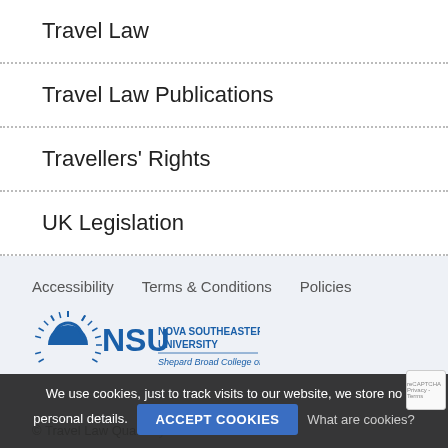Travel Law
Travel Law Publications
Travellers' Rights
UK Legislation
Accessibility   Terms & Conditions   Policies
[Figure (logo): Nova Southeastern University - Shepard Broad College of Law logo with sunburst emblem and NSU text]
We use cookies, just to track visits to our website, we store no personal details.   ACCEPT COOKIES   What are cookies?
© Travel Law Quarterly